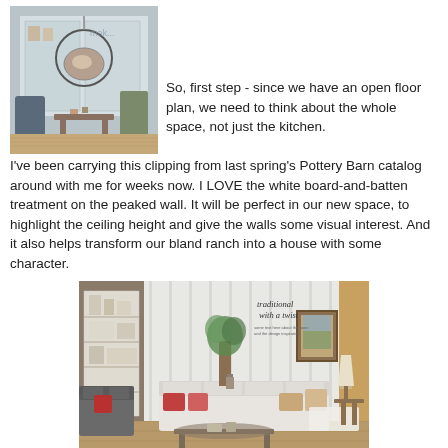[Figure (photo): Interior room photo showing a living space with hanging chair, shelves, and various furniture items]
So, first step - since we have an open floor plan, we need to think about the whole space, not just the kitchen.  I've been carrying this clipping from last spring's Pottery Barn catalog around with me for weeks now.  I LOVE the white board-and-batten treatment on the peaked wall.  It will be perfect in our new space, to highlight the ceiling height and give the walls some visual interest.  And it also helps transform our bland ranch into a house with some character.
[Figure (photo): Pottery Barn catalog clipping showing a traditional living room with white board-and-batten walls, sofas, shelving, and text reading 'traditional with a twist']